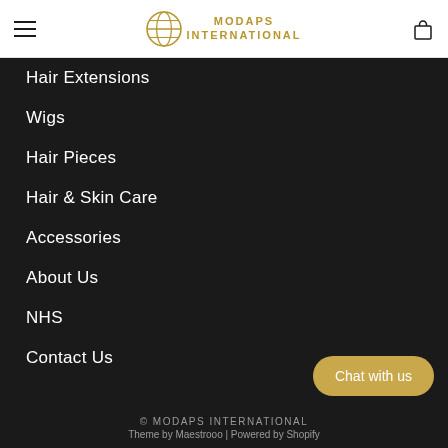MODAPS INTERNATIONAL — navigation header with hamburger menu and cart icon
Hair Extensions
Wigs
Hair Pieces
Hair & Skin Care
Accessories
About Us
NHS
Contact Us
Chat with us
© MODAPS INTERNATIONAL
Theme by Maestrooo | Powered by Shopify